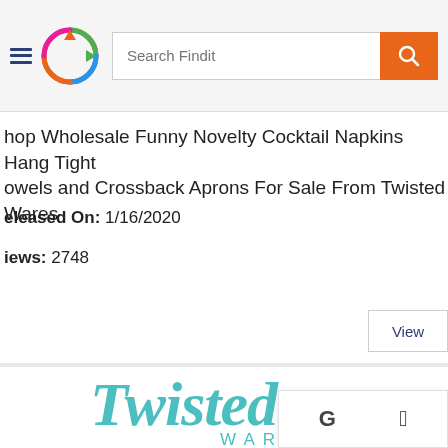Search Findit
Shop Wholesale Funny Novelty Cocktail Napkins Hang Tight Towels and Crossback Aprons For Sale From Twisted Wares
Released On: 1/16/2020
Views: 2748
View
[Figure (logo): Twisted Wares brand logo in teal script font showing 'Twisted' in cursive and 'WARES' in block capitals below]
[Figure (other): Sign-in options overlay with Google G icon and Apple logo]